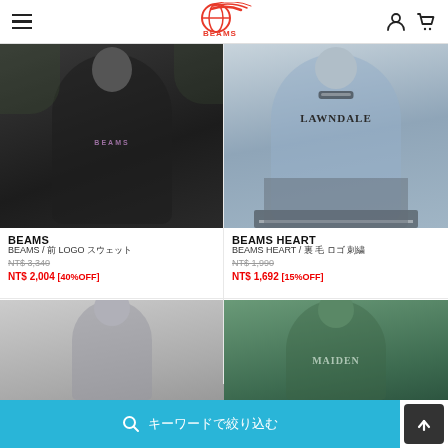BEAMS navigation header with logo, hamburger menu, account icon, and cart icon
[Figure (photo): Man wearing black BEAMS crewneck sweatshirt with small purple BEAMS logo on chest, standing outdoors]
BEAMS
BEAMS / 前 LOGO スウェット
NT$ 3,340
NT$ 2,004 [40%OFF]
[Figure (photo): Man wearing light blue-grey LAWNDALE crewneck sweatshirt with black and white rib trim]
BEAMS HEART
BEAMS HEART / 裏 毛 ロゴ 刺繍
NT$ 1,990
NT$ 1,692 [15%OFF]
[Figure (photo): Partial view of man wearing grey sweatshirt, bottom of page]
[Figure (photo): Partial view of man wearing green MAIDEN sweatshirt, bottom of page]
キーワードで絞り込む